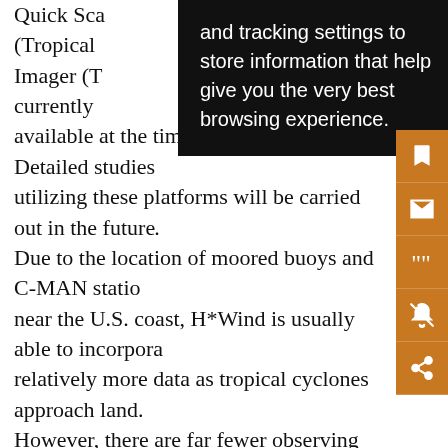Quick Sca… (Tropical … Imager (T… ents currently … not available at the time of this study. Detailed studies utilizing these platforms will be carried out in the future. Due to the location of moored buoys and C-MAN stations near the U.S. coast, H*Wind is usually able to incorporate relatively more data as tropical cyclones approach land. However, there are far fewer observing platforms available to measure winds around tropical cyclones that are located farther offshore in the Atlantic basin and Caribbean. The only data available in these remote locations is often flight-level data from U.S. Air Force and/or NOAA aircraft, SFMR data, GPS dropsondes, intermittent SSM/I, QuikScat, and TMI satellite passes,
[Figure (screenshot): Black tooltip overlay showing cookie/tracking settings text: 'and tracking settings to store information that help give you the very best browsing experience.']